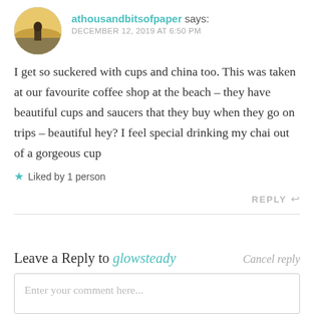[Figure (photo): Circular avatar photo showing a person in a field at sunset]
athousandbitsofpaper says: DECEMBER 12, 2019 AT 6:50 PM
I get so suckered with cups and china too. This was taken at our favourite coffee shop at the beach – they have beautiful cups and saucers that they buy when they go on trips – beautiful hey? I feel special drinking my chai out of a gorgeous cup
★ Liked by 1 person
REPLY ↩
Leave a Reply to glowsteady   Cancel reply
Enter your comment here...